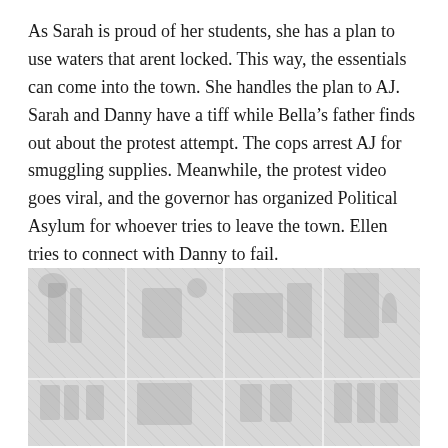As Sarah is proud of her students, she has a plan to use waters that arent locked. This way, the essentials can come into the town. She handles the plan to AJ. Sarah and Danny have a tiff while Bella’s father finds out about the protest attempt. The cops arrest AJ for smuggling supplies. Meanwhile, the protest video goes viral, and the governor has organized Political Asylum for whoever tries to leave the town. Ellen tries to connect with Danny to fail.
[Figure (photo): A faded/washed-out image appearing to show a crowd or group of people, partially visible at the bottom of the page, split into two rows of image panels.]